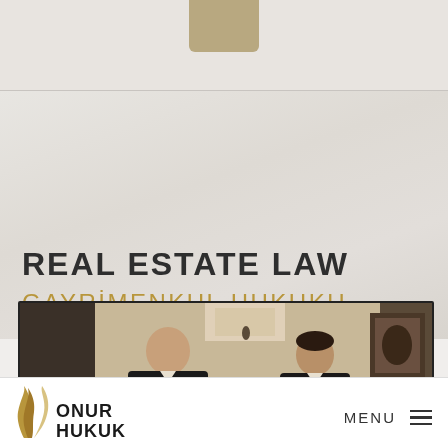[Figure (other): Tan/gold rounded rectangle tab at top center of page, decorative header element]
REAL ESTATE LAW
GAYRİMENKUL HUKUKU
[Figure (photo): Framed photograph of two men in a law office setting, one older balding man in suit looking down, one younger man in suit looking at camera, office furniture and artwork visible in background]
[Figure (logo): Onur Hukuk logo: gold/tan flame/leaf shape icon on left, bold black text ONUR HUKUK stacked on right]
MENU